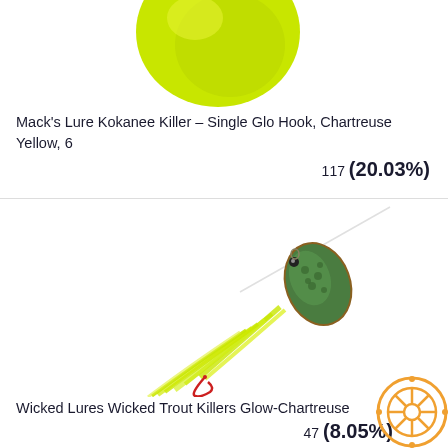[Figure (photo): Partial view of a chartreuse yellow fishing lure (round spinner blade visible) cropped at top of page]
Mack's Lure Kokanee Killer – Single Glo Hook, Chartreuse Yellow, 6
117 (20.03%)
[Figure (photo): Wicked Lures Wicked Trout Killers Glow-Chartreuse fishing lure with green oval spinner blade and red hook with chartreuse skirt on white background]
Wicked Lures Wicked Trout Killers Glow-Chartreuse
47 (8.05%)
[Figure (other): Orange circular wheel/reel icon watermark in bottom right corner]